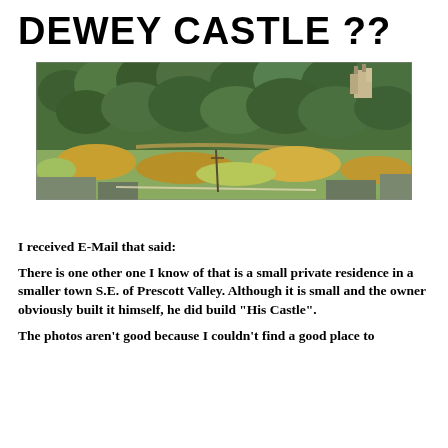DEWEY CASTLE ??
[Figure (photo): Aerial or distant landscape photo showing a hillside covered in trees with a small castle-like private residence visible in the upper right area, and valley/road visible in the lower portion.]
I received E-Mail that said:
There is one other one I know of that is a small private residence in a smaller town S.E. of Prescott Valley. Although it is small and the owner obviously built it himself, he did build "His Castle".
The photos aren't good because I couldn't find a good place to